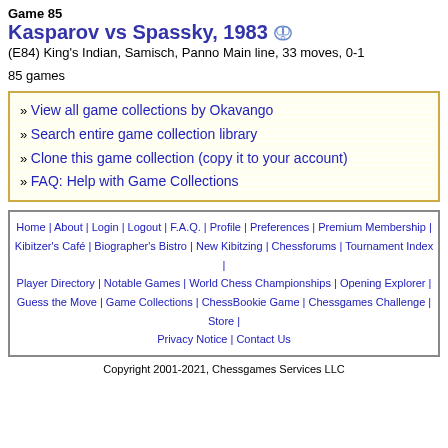Game 85
Kasparov vs Spassky, 1983
(E84) King's Indian, Samisch, Panno Main line, 33 moves, 0-1
85 games
» View all game collections by Okavango
» Search entire game collection library
» Clone this game collection (copy it to your account)
» FAQ: Help with Game Collections
Home | About | Login | Logout | F.A.Q. | Profile | Preferences | Premium Membership | Kibitzer's Café | Biographer's Bistro | New Kibitzing | Chessforums | Tournament Index | Player Directory | Notable Games | World Chess Championships | Opening Explorer | Guess the Move | Game Collections | ChessBookie Game | Chessgames Challenge | Store | Privacy Notice | Contact Us
Copyright 2001-2021, Chessgames Services LLC